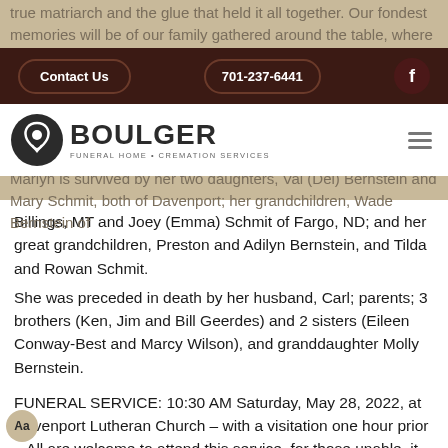true matriarch and the glue that held it all together. Our fondest memories will be of our family gathered around the table, where we would and memories were made.
[Figure (logo): Boulger Funeral Home & Cremation Services logo with navigation bar showing Contact Us button, phone number 701-237-6441, Facebook icon, and hamburger menu]
Marlyn is survived by her two daughters, Val (Del) Bernstein and Mary Schmit, both of Davenport; her grandchildren, Wade Bernstein of Billings, MT and Joey (Emma) Schmit of Fargo, ND; and her great grandchildren, Preston and Adilyn Bernstein, and Tilda and Rowan Schmit.
She was preceded in death by her husband, Carl; parents; 3 brothers (Ken, Jim and Bill Geerdes) and 2 sisters (Eileen Conway-Best and Marcy Wilson), and granddaughter Molly Bernstein.
FUNERAL SERVICE: 10:30 AM Saturday, May 28, 2022, at Davenport Lutheran Church – with a visitation one hour prior – All are welcome to attend this service, for those unable, it will be livestreamed on the funeral home website.
BURIAL: Davenport Cemetery